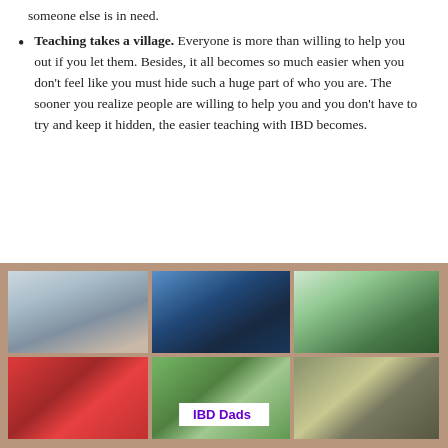someone else is in need.
Teaching takes a village. Everyone is more than willing to help you out if you let them. Besides, it all becomes so much easier when you don't feel like you must hide such a huge part of who you are. The sooner you realize people are willing to help you and you don't have to try and keep it hidden, the easier teaching with IBD becomes.
[Figure (photo): Photo collage of people in various group settings with 'IBD Dads' label overlay at bottom center]